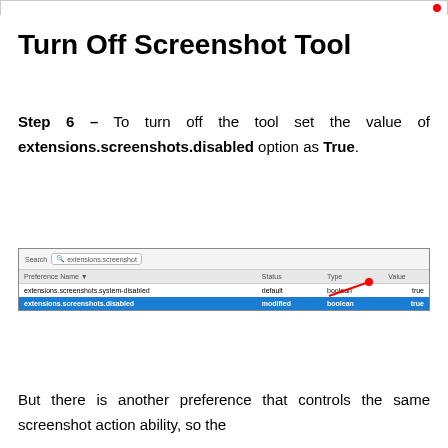Turn Off Screenshot Tool
Step 6 – To turn off the tool set the value of extensions.screenshots.disabled option as True.
[Figure (screenshot): Firefox about:config screenshot showing extensions.screenshots.disabled set to true (highlighted in blue, modified), and extensions.screenshots.system-disabled set to true (default). A red arrow points to the value 'true' of the selected row.]
But there is another preference that controls the same screenshot action ability, so the